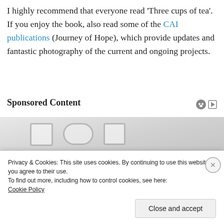I highly recommend that everyone read 'Three cups of tea'. If you enjoy the book, also read some of the CAI publications (Journey of Hope), which provide updates and fantastic photography of the current and ongoing projects.
Sponsored Content
[Figure (photo): Partial advertisement image with gray gradient background, showing partial outlines of objects at the bottom]
Privacy & Cookies: This site uses cookies. By continuing to use this website, you agree to their use.
To find out more, including how to control cookies, see here:
Cookie Policy